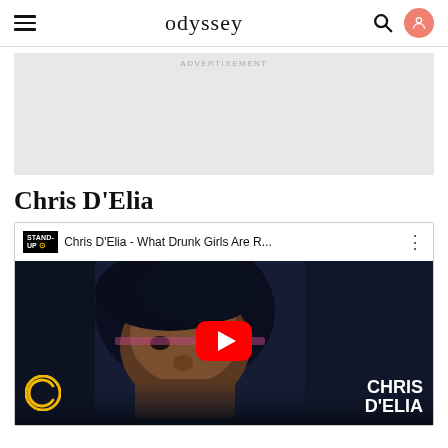odyssey
[Figure (other): Advertisement placeholder — gray rectangle]
Chris D'Elia
[Figure (screenshot): YouTube video embed thumbnail for 'Chris D'Elia - What Drunk Girls Are R...' from Stand-Up Comedy Central channel, showing Chris D'Elia's face, a YouTube play button, Comedy Central logo, and text CHRIS D'ELIA in the bottom right.]